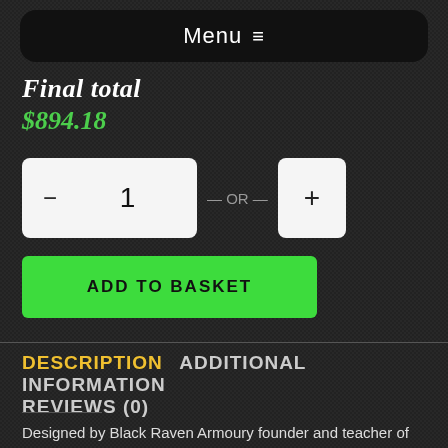Menu ≡
Final total
$894.18
− 1 OR +
ADD TO BASKET
DESCRIPTION  ADDITIONAL INFORMATION  REVIEWS (0)
Designed by Black Raven Armoury founder and teacher of The Academy Alex Agricola, the Freya